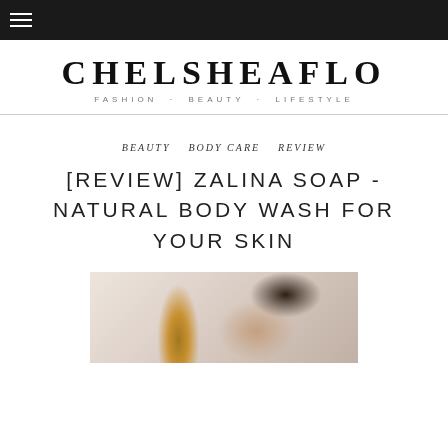≡ (navigation menu icon)
CHELSHEAFLO — FASHION · BEAUTY · LIFESTYLE
BEAUTY   BODY CARE   REVIEW
[REVIEW] ZALINA SOAP - NATURAL BODY WASH FOR YOUR SKIN
[Figure (photo): Photo of a person holding or using a bottle, likely a body wash/soap product, with warm tones and dark hair visible]